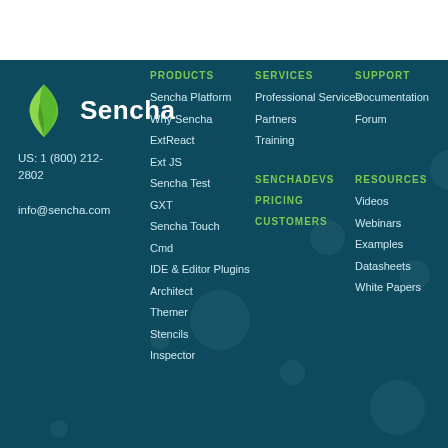[Figure (logo): Sencha logo: green flame/leaf SVG icon with white text 'Sencha']
US: 1 (800) 212-2802
info@sencha.com
PRODUCTS
Sencha Platform
Why Sencha
ExtReact
Ext JS
Sencha Test
GXT
Sencha Touch
Cmd
IDE & Editor Plugins
Architect
Themer
Stencils
Inspector
SERVICES
Professional Services
Partners
Training
SENCHADEVS
PRICING
CUSTOMERS
SUPPORT
Documentation
Forum
RESOURCES
Videos
Webinars
Examples
Datasheets
White Papers